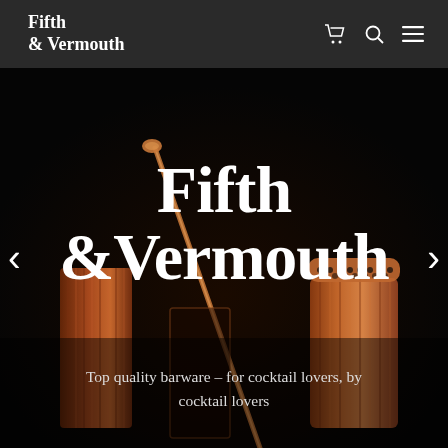Fifth & Vermouth
[Figure (photo): Hero banner showing copper barware — cocktail shaker, mixing glass, bar spoon — against a dark/black background, with the large 'Fifth & Vermouth' logotype overlaid in white serif font and a tagline below.]
Fifth & Vermouth
Top quality barware – for cocktail lovers, by cocktail lovers